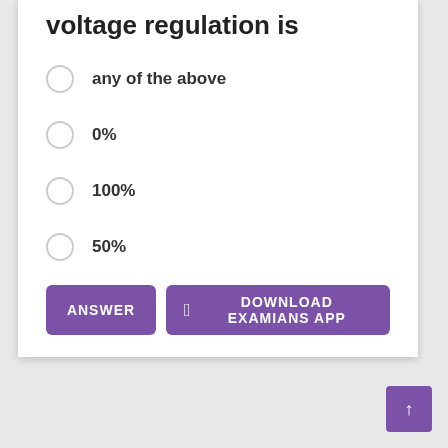voltage regulation is
any of the above
0%
100%
50%